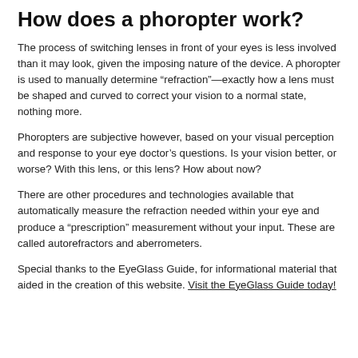How does a phoropter work?
The process of switching lenses in front of your eyes is less involved than it may look, given the imposing nature of the device. A phoropter is used to manually determine “refraction”—exactly how a lens must be shaped and curved to correct your vision to a normal state, nothing more.
Phoropters are subjective however, based on your visual perception and response to your eye doctor’s questions. Is your vision better, or worse? With this lens, or this lens? How about now?
There are other procedures and technologies available that automatically measure the refraction needed within your eye and produce a “prescription” measurement without your input. These are called autorefractors and aberrometers.
Special thanks to the EyeGlass Guide, for informational material that aided in the creation of this website. Visit the EyeGlass Guide today!